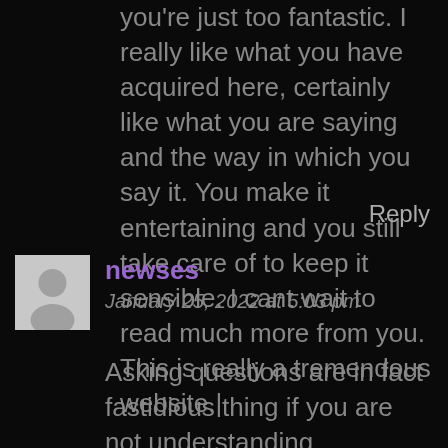you're just too fantastic. I really like what you have acquired here, certainly like what you are saying and the way in which you say it. You make it entertaining and you still take care of to keep it sensible. I cant wait to read much more from you. This is really a tremendous website.|
Reply
newses
January 25, 2022 at 5:03 pm
Asking questions are in fact fastidious thing if you are not understanding something fully, however this article gives fastidious understanding even.